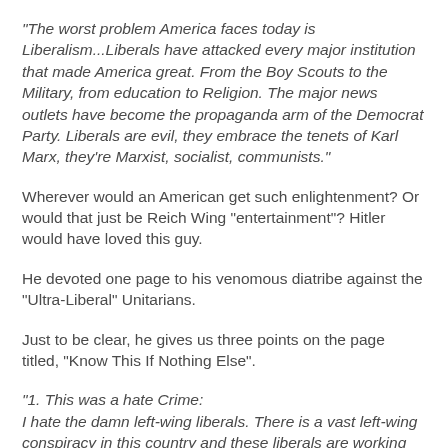“The worst problem America faces today is Liberalism...Liberals have attacked every major institution that made America great. From the Boy Scouts to the Military, from education to Religion. The major news outlets have become the propaganda arm of the Democrat Party. Liberals are evil, they embrace the tenets of Karl Marx, they’re Marxist, socialist, communists.”
Wherever would an American get such enlightenment? Or would that just be Reich Wing “entertainment”? Hitler would have loved this guy.
He devoted one page to his venomous diatribe against the “Ultra-Liberal” Unitarians.
Just to be clear, he gives us three points on the page titled, “Know This If Nothing Else”.
“1. This was a hate Crime:
I hate the damn left-wing liberals. There is a vast left-wing conspiracy in this country and these liberals are working